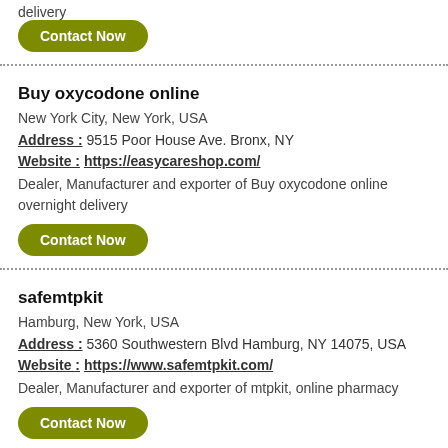delivery
Contact Now
Buy oxycodone online
New York City, New York, USA
Address : 9515 Poor House Ave. Bronx, NY
Website : https://easycareshop.com/
Dealer, Manufacturer and exporter of Buy oxycodone online overnight delivery
Contact Now
safemtpkit
Hamburg, New York, USA
Address : 5360 Southwestern Blvd Hamburg, NY 14075, USA
Website : https://www.safemtpkit.com/
Dealer, Manufacturer and exporter of mtpkit, online pharmacy
Contact Now